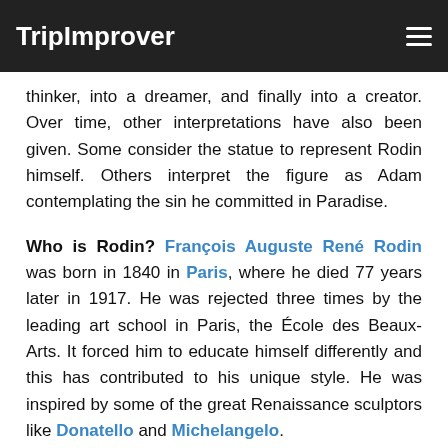TripImprover
thinker, into a dreamer, and finally into a creator. Over time, other interpretations have also been given. Some consider the statue to represent Rodin himself. Others interpret the figure as Adam contemplating the sin he committed in Paradise.
Who is Rodin? François Auguste René Rodin was born in 1840 in Paris, where he died 77 years later in 1917. He was rejected three times by the leading art school in Paris, the École des Beaux-Arts. It forced him to educate himself differently and this has contributed to his unique style. He was inspired by some of the great Renaissance sculptors like Donatello and Michelangelo.
Most of Rodin's famous sculptures were originally intended for his commission of The Gates of Hell. Over